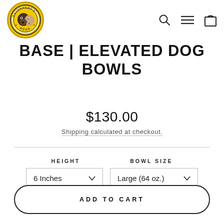[Figure (logo): Davenport's Dogs circular logo with yellow background, dogs illustration, and text around the border]
BASE | ELEVATED DOG BOWLS
$130.00
Shipping calculated at checkout.
HEIGHT
BOWL SIZE
6 Inches
Large (64 oz.)
ADD TO CART